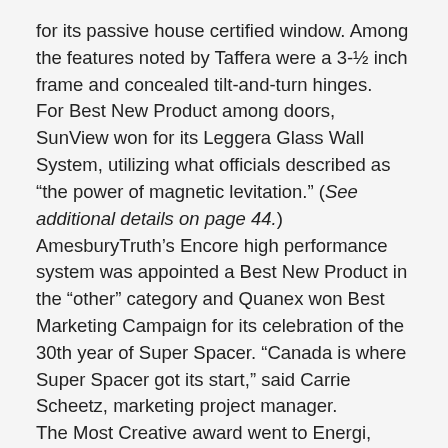for its passive house certified window. Among the features noted by Taffera were a 3-½ inch frame and concealed tilt-and-turn hinges.
For Best New Product among doors, SunView won for its Leggera Glass Wall System, utilizing what officials described as “the power of magnetic levitation.” (See additional details on page 44.)
AmesburyTruth’s Encore high performance system was appointed a Best New Product in the “other” category and Quanex won Best Marketing Campaign for its celebration of the 30th year of Super Spacer. “Canada is where Super Spacer got its start,” said Carrie Scheetz, marketing project manager.
The Most Creative award went to Energi, which utilized a massive digital screen positioned adjacent to the show’s entrance. But times were reported better along with